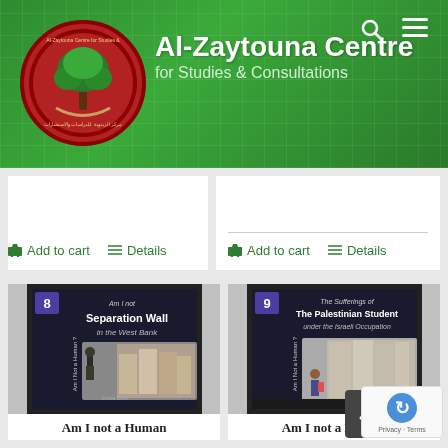[Figure (logo): Al-Zaytouna Centre for Studies & Consultations website header with green background, logo, search and menu icons]
Add to cart   Details
Add to cart   Details
[Figure (photo): Book cover: Am I not a Human - Separation Wall in the West Bank, Issue 8]
[Figure (photo): Book cover: Am I not a Human - The Sufferings of The Palestinian Student under the Israeli Occupation, Issue 9]
Am I not a Human
Am I not a Human